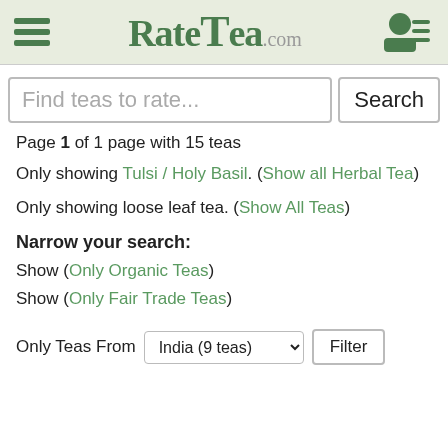RateTea.com
Find teas to rate...
Page 1 of 1 page with 15 teas
Only showing Tulsi / Holy Basil. (Show all Herbal Tea)
Only showing loose leaf tea. (Show All Teas)
Narrow your search:
Show (Only Organic Teas)
Show (Only Fair Trade Teas)
Only Teas From India (9 teas) Filter